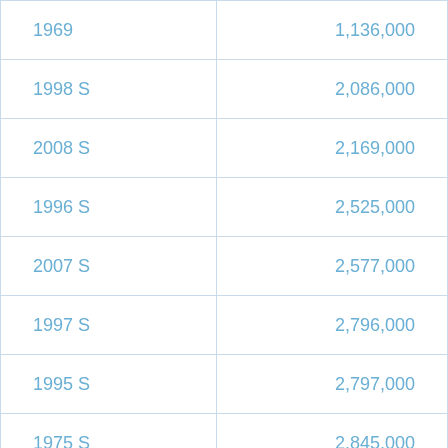| 1969 | 1,136,000 |
| 1998 S | 2,086,000 |
| 2008 S | 2,169,000 |
| 1996 S | 2,525,000 |
| 2007 S | 2,577,000 |
| 1997 S | 2,796,000 |
| 1995 S | 2,797,000 |
| 1975 S | 2,845,000 |
| 1991 S | 2,867,000 |
| 2004 S | 2,965,000 |
| 1986 S | 3,010,000 |
| 2006 S | 3,054,000 |
| ... | ... |